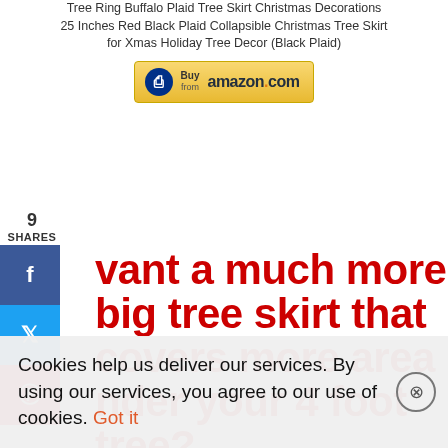Tree Ring Buffalo Plaid Tree Skirt Christmas Decorations 25 Inches Red Black Plaid Collapsible Christmas Tree Skirt for Xmas Holiday Tree Decor (Black Plaid)
[Figure (other): Amazon 'Buy from amazon.com' button with yellow gradient background and Amazon logo]
9
SHARES
[Figure (other): Social share sidebar buttons: Facebook (f), Twitter (bird), Pinterest (p)]
Want a much more big tree skirt that covers more area under your 4 foot tree?
Cookies help us deliver our services. By using our services, you agree to our use of cookies. Got it